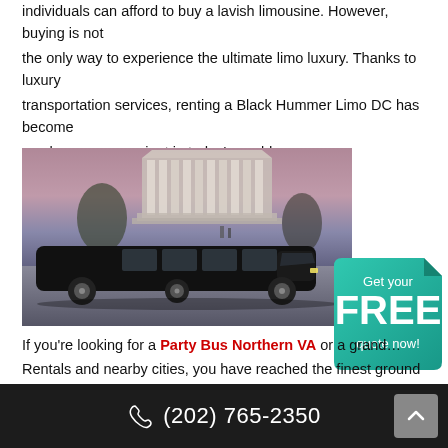individuals can afford to buy a lavish limousine. However, buying is not the only way to experience the ultimate limo luxury. Thanks to luxury transportation services, renting a Black Hummer Limo DC has become much more convenient in today's world.
[Figure (photo): Black stretch limousine parked in front of Lincoln Memorial at dusk with pink and purple sky]
[Figure (infographic): Green badge button reading 'Get your FREE quote now!']
If you're looking for a Party Bus Northern VA or a grand... Rentals and nearby cities, you have reached the finest ground transportation service.
(202) 765-2350